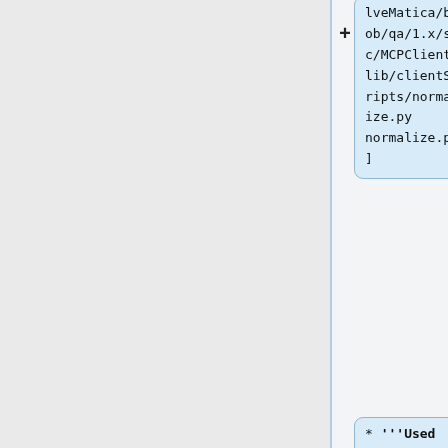+ lveMatica/blob/qa/1.x/src/MCPClient/lib/clientScripts/normalize.py normalize.py]
+ * '''Used in''': Ingest
+ * '''Task type''': [[MCPServer/TaskTypes#Run for each file | per file]]
+ * '''Event?'''